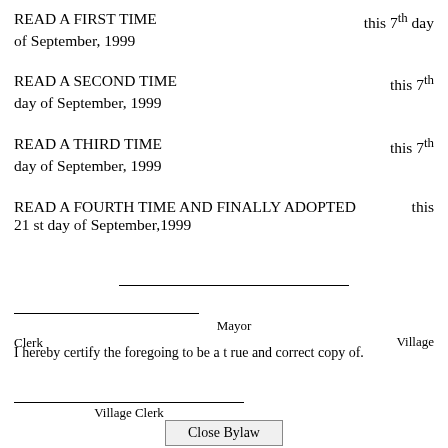READ A FIRST TIME this 7th day of September, 1999
READ A SECOND TIME this 7th day of September, 1999
READ A THIRD TIME this 7th day of September, 1999
READ A FOURTH TIME AND FINALLY ADOPTED this 21 st day of September,1999
Mayor
Village Clerk
I hereby certify the foregoing to be a t rue and correct copy of.
Village Clerk
Close Bylaw